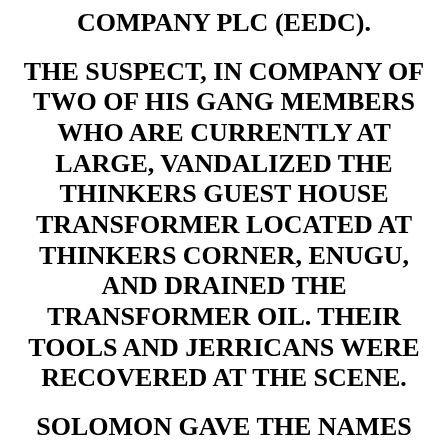COMPANY PLC (EEDC).
THE SUSPECT, IN COMPANY OF TWO OF HIS GANG MEMBERS WHO ARE CURRENTLY AT LARGE, VANDALIZED THE THINKERS GUEST HOUSE TRANSFORMER LOCATED AT THINKERS CORNER, ENUGU, AND DRAINED THE TRANSFORMER OIL. THEIR TOOLS AND JERRICANS WERE RECOVERED AT THE SCENE.
SOLOMON GAVE THE NAMES OF HIS FLEEING GANG MEMBERS AS SUNDAY AND ONYEMA, WHILE HE NAMED ONE ONYEDIA OBASI, ALIAS BISHOP, AS THEIR MASTER.
THE HEAD OF CORPORATE COMMUNICATIONS, EEDC, EMEKA